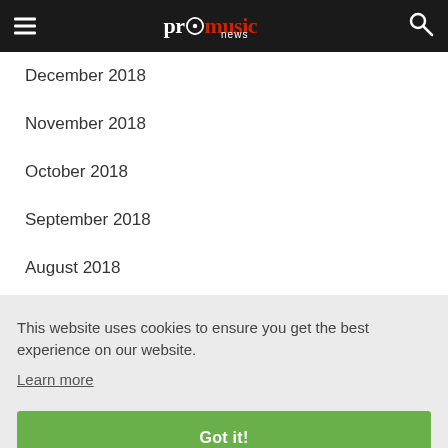pro music news
December 2018
November 2018
October 2018
September 2018
August 2018
July 2018
This website uses cookies to ensure you get the best experience on our website.
Learn more
Got it!